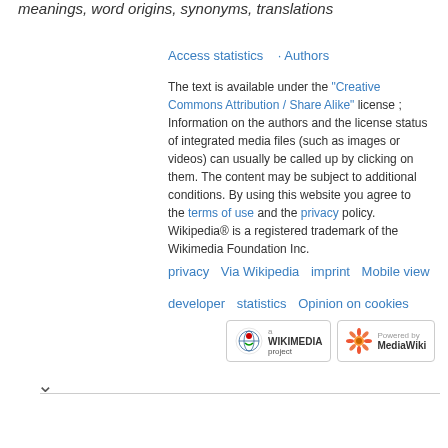meanings, word origins, synonyms, translations
Access statistics · Authors
The text is available under the "Creative Commons Attribution / Share Alike" license ; Information on the authors and the license status of integrated media files (such as images or videos) can usually be called up by clicking on them. The content may be subject to additional conditions. By using this website you agree to the terms of use and the privacy policy. Wikipedia® is a registered trademark of the Wikimedia Foundation Inc.
privacy  Via Wikipedia  imprint  Mobile view  developer  statistics  Opinion on cookies